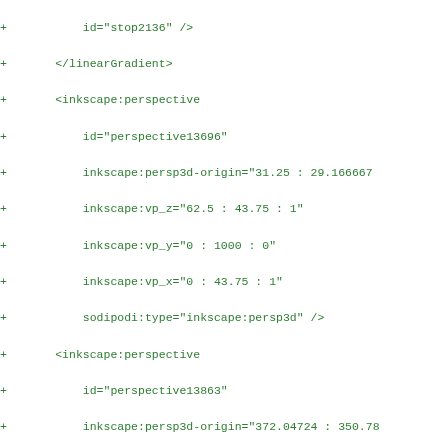diff/code listing showing XML inkscape perspective elements with + prefix lines